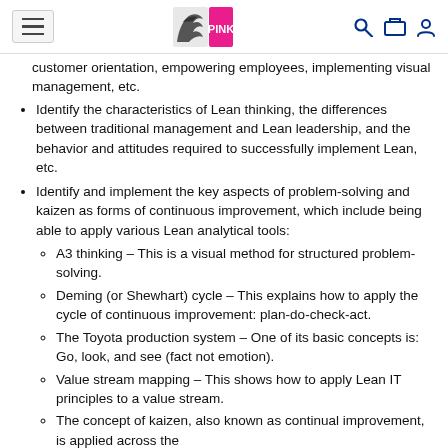PINK logo navigation header
customer orientation, empowering employees, implementing visual management, etc.
Identify the characteristics of Lean thinking, the differences between traditional management and Lean leadership, and the behavior and attitudes required to successfully implement Lean, etc.
Identify and implement the key aspects of problem-solving and kaizen as forms of continuous improvement, which include being able to apply various Lean analytical tools:
A3 thinking – This is a visual method for structured problem-solving.
Deming (or Shewhart) cycle – This explains how to apply the cycle of continuous improvement: plan-do-check-act.
The Toyota production system – One of its basic concepts is: Go, look, and see (fact not emotion).
Value stream mapping – This shows how to apply Lean IT principles to a value stream.
The concept of kaizen, also known as continual improvement, is applied across the